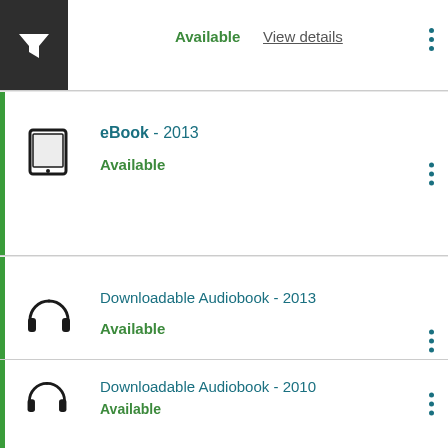Available View details
eBook - 2013
Available
Downloadable Audiobook - 2013
Available
Innocent
by Turow, Scott
[Figure (illustration): Book cover of Innocent by Scott Turow - yellow background with silhouette of a person walking]
Downloadable Audiobook - 2010
Available